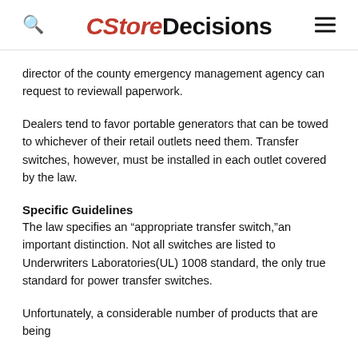CStoreDecisions
director of the county emergency management agency can request to reviewall paperwork.
Dealers tend to favor portable generators that can be towed to whichever of their retail outlets need them. Transfer switches, however, must be installed in each outlet covered by the law.
Specific Guidelines
The law specifies an “appropriate transfer switch,”an important distinction. Not all switches are listed to Underwriters Laboratories(UL) 1008 standard, the only true standard for power transfer switches.
Unfortunately, a considerable number of products that are being